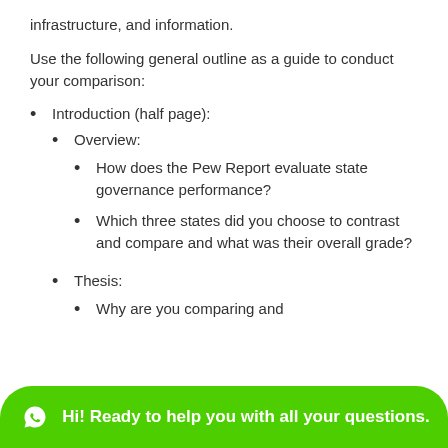infrastructure, and information.
Use the following general outline as a guide to conduct your comparison:
Introduction (half page):
Overview:
How does the Pew Report evaluate state governance performance?
Which three states did you choose to contrast and compare and what was their overall grade?
Thesis:
Why are you comparing and
Hi! Ready to help you with all your questions.